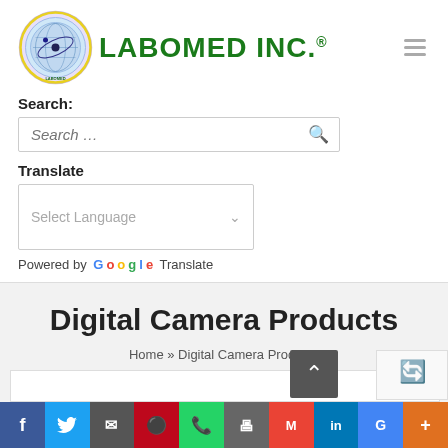[Figure (logo): Labomed Inc. circular globe logo with purple/blue/yellow rings and a dark center, next to the green text LABOMED INC. with registered trademark symbol]
Search:
Search …
Translate
Select Language
Powered by Google Translate
Digital Camera Products
Home » Digital Camera Products
f  Twitter  Email  Pinterest  WhatsApp  Print  Gmail  in  G  +